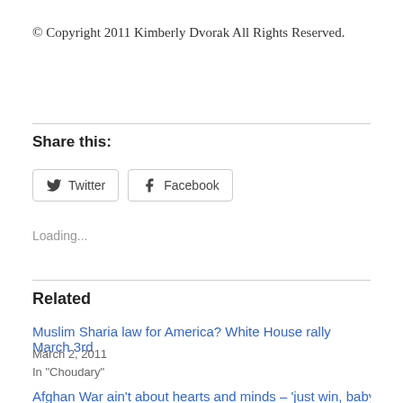© Copyright 2011 Kimberly Dvorak All Rights Reserved.
Share this:
Twitter  Facebook
Loading...
Related
Muslim Sharia law for America? White House rally March 3rd
March 2, 2011
In "Choudary"
Afghan War ain't about hearts and minds – 'just win, baby'